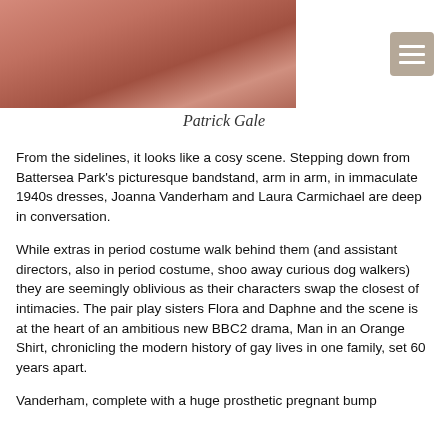[Figure (photo): Photograph of Patrick Gale, a man wearing a red/pink plaid shirt, cropped to show neck and lower face area.]
Patrick Gale
From the sidelines, it looks like a cosy scene. Stepping down from Battersea Park's picturesque bandstand, arm in arm, in immaculate 1940s dresses, Joanna Vanderham and Laura Carmichael are deep in conversation.
While extras in period costume walk behind them (and assistant directors, also in period costume, shoo away curious dog walkers) they are seemingly oblivious as their characters swap the closest of intimacies. The pair play sisters Flora and Daphne and the scene is at the heart of an ambitious new BBC2 drama, Man in an Orange Shirt, chronicling the modern history of gay lives in one family, set 60 years apart.
Vanderham, complete with a huge prosthetic pregnant bump